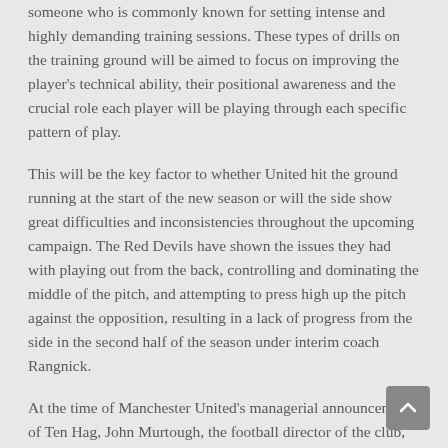someone who is commonly known for setting intense and highly demanding training sessions. These types of drills on the training ground will be aimed to focus on improving the player's technical ability, their positional awareness and the crucial role each player will be playing through each specific pattern of play.
This will be the key factor to whether United hit the ground running at the start of the new season or will the side show great difficulties and inconsistencies throughout the upcoming campaign. The Red Devils have shown the issues they had with playing out from the back, controlling and dominating the middle of the pitch, and attempting to press high up the pitch against the opposition, resulting in a lack of progress from the side in the second half of the season under interim coach Rangnick.
At the time of Manchester United's managerial announcement of Ten Hag, John Murtough, the football director of the club, stressed that the fans "must show patience" with the new manager "as he sets about the challenge of building a successful team". This was revealed